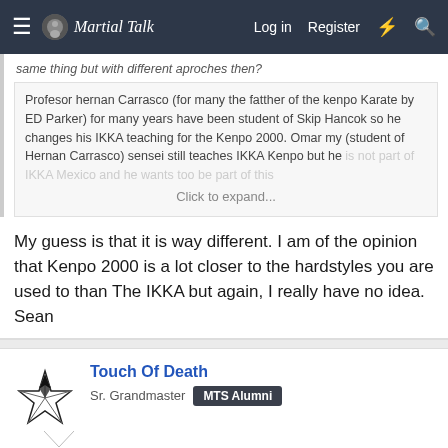Martial Talk - Log in  Register
same thing but with different aproches then?
Profesor hernan Carrasco (for many the fatther of the kenpo Karate by ED Parker) for many years have been student of Skip Hancok so he changes his IKKA teaching for the Kenpo 2000. Omar my (student of Hernan Carrasco) sensei still teaches IKKA Kenpo but he is not part of IKKA Mexico and he wants too be part of this. Click to expand...
My guess is that it is way different. I am of the opinion that Kenpo 2000 is a lot closer to the hardstyles you are used to than The IKKA but again, I really have no idea.
Sean
Touch Of Death
Sr. Grandmaster  MTS Alumni
Mar 10, 2010  #10